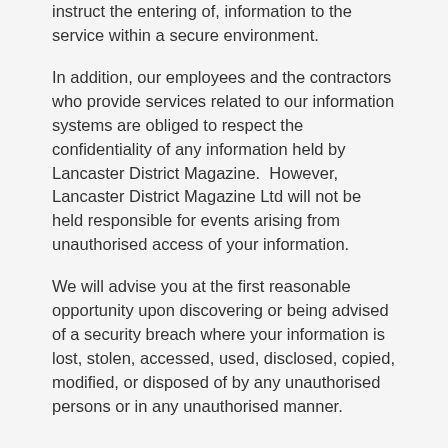instruct the entering of, information to the service within a secure environment.
In addition, our employees and the contractors who provide services related to our information systems are obliged to respect the confidentiality of any information held by Lancaster District Magazine.  However, Lancaster District Magazine Ltd will not be held responsible for events arising from unauthorised access of your information.
We will advise you at the first reasonable opportunity upon discovering or being advised of a security breach where your information is lost, stolen, accessed, used, disclosed, copied, modified, or disposed of by any unauthorised persons or in any unauthorised manner.
Disclosing Your Information in Limited Circumstances
Lancaster District Magazine will only disclose the information you have provided to us to entities outside the Lancaster